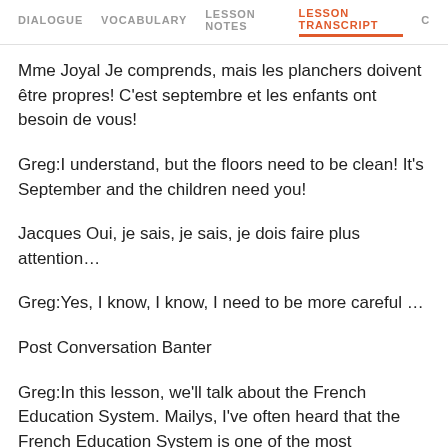DIALOGUE   VOCABULARY   LESSON NOTES   LESSON TRANSCRIPT   C
Mme Joyal Je comprends, mais les planchers doivent être propres! C'est septembre et les enfants ont besoin de vous!
Greg:I understand, but the floors need to be clean! It's September and the children need you!
Jacques Oui, je sais, je sais, je dois faire plus attention…
Greg:Yes, I know, I know, I need to be more careful …
Post Conversation Banter
Greg:In this lesson, we'll talk about the French Education System. Mailys, I've often heard that the French Education System is one of the most successful